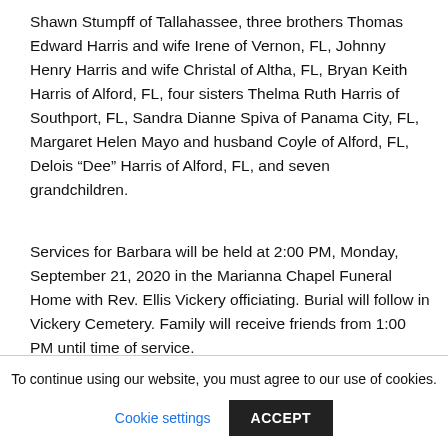Shawn Stumpff of Tallahassee, three brothers Thomas Edward Harris and wife Irene of Vernon, FL, Johnny Henry Harris and wife Christal of Altha, FL, Bryan Keith Harris of Alford, FL, four sisters Thelma Ruth Harris of Southport, FL, Sandra Dianne Spiva of Panama City, FL, Margaret Helen Mayo and husband Coyle of Alford, FL, Delois “Dee” Harris of Alford, FL, and seven grandchildren.
Services for Barbara will be held at 2:00 PM, Monday, September 21, 2020 in the Marianna Chapel Funeral Home with Rev. Ellis Vickery officiating. Burial will follow in Vickery Cemetery. Family will receive friends from 1:00 PM until time of service.
To continue using our website, you must agree to our use of cookies.
Cookie settings
ACCEPT